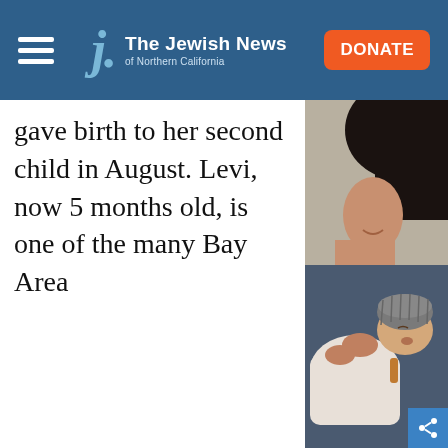The Jewish News of Northern California
gave birth to her second child in August. Levi, now 5 months old, is one of the many Bay Area
[Figure (photo): A woman with dark hair smiling while holding a sleeping newborn baby wearing a knit hat. Warm, intimate indoor lighting.]